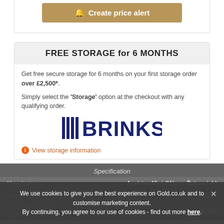[Figure (other): Gold bell icon with 'Create price alert' button in golden/tan color]
FREE STORAGE for 6 MONTHS
Get free secure secure storage for 6 months on your first storage order over £2,500*.
Simply select the 'Storage' option at the checkout with any qualifying order.
[Figure (logo): BRINKS logo in dark navy blue with vertical bar lines on the left]
View storage information
Specification
|  |  |
| --- | --- |
| Manufacturer | Austrian Mint (Münze Österreich) |
| Weight (grams) | 31.10 |
| Pure gold content (grams) | 31.105 |
We use cookies to give you the best experience on Gold.co.uk and to customise marketing content. By continuing, you agree to our use of cookies - find out more here.